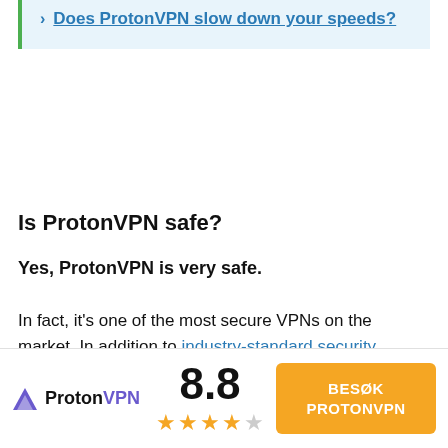Does ProtonVPN slow down your speeds?
Is ProtonVPN safe?
Yes, ProtonVPN is very safe.
In fact, it's one of the most secure VPNs on the market. In addition to industry-standard security features like 256-bit AES encryption, a kill switch, and a strict no-logs policy, ProtonVPN includes extra features like Secure Core servers (double VPN routing), NetShield (an ad/tracking blocker)
[Figure (logo): ProtonVPN logo with purple triangle and text, score 8.8, four and a half stars, orange CTA button reading BESØK PROTONVPN]